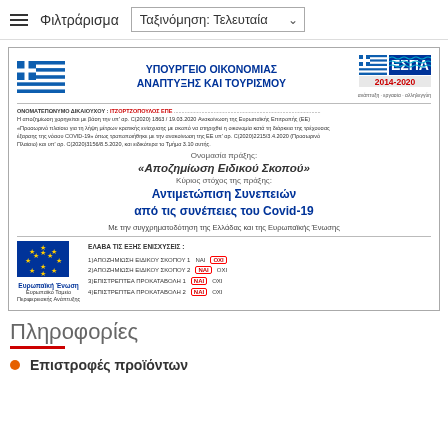≡ Φιλτράρισμα    Ταξινόμηση: Τελευταία
[Figure (infographic): Greek government ESPA 2014-2020 certificate for ΙΤΖΟΡΤΖΟΠΟΥΛΟΣ ΕΠΕ about Αποζημίωση Ειδικού Σκοπού (Special Purpose Indemnity) for Covid-19 consequences, co-financed by Greece and the European Union. Shows Greek flag, ΕΣΠΑ logo, EU flag, and checkboxes for 4 types of support.]
Πληροφορίες
Επιστροφές προϊόντων